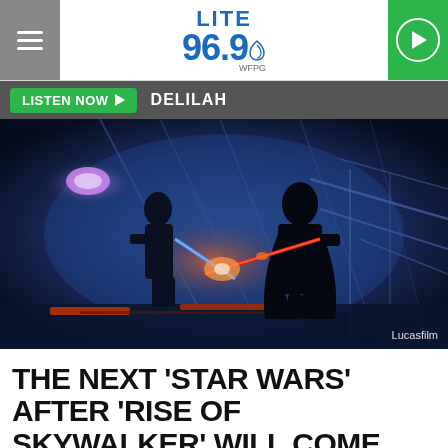LITE 96.9 WFPG
LISTEN NOW ▶  DELILAH
[Figure (photo): Two silhouetted figures dueling with crossed lightsabers (one blue, one red) in a dimly lit, blue-toned industrial setting. Lucasfilm credit in lower right.]
Lucasfilm
THE NEXT 'STAR WARS' AFTER 'RISE OF SKYWALKER' WILL COME